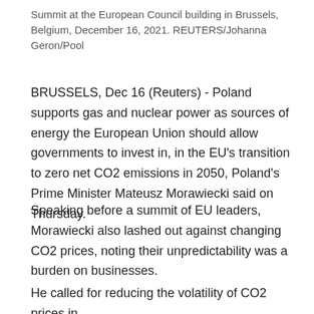Summit at the European Council building in Brussels, Belgium, December 16, 2021. REUTERS/Johanna Geron/Pool
BRUSSELS, Dec 16 (Reuters) - Poland supports gas and nuclear power as sources of energy the European Union should allow governments to invest in, in the EU's transition to zero net CO2 emissions in 2050, Poland's Prime Minister Mateusz Morawiecki said on Thursday.
Speaking before a summit of EU leaders, Morawiecki also lashed out against changing CO2 prices, noting their unpredictability was a burden on businesses.
He called for reducing the volatility of CO2 prices in